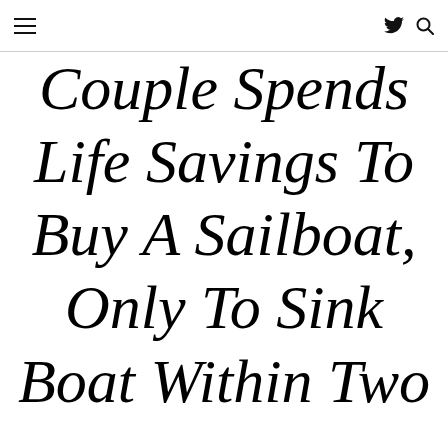≡  𝕏 🔍
Couple Spends Life Savings To Buy A Sailboat, Only To Sink Boat Within Two D…